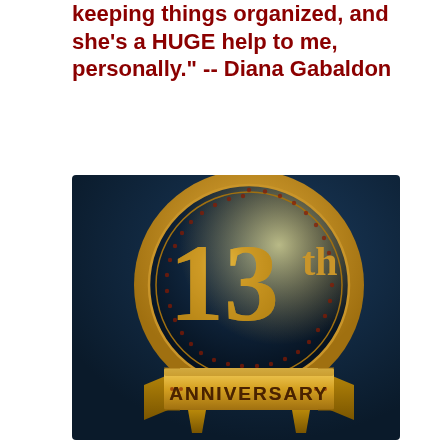keeping things organized, and she's a HUGE help to me, personally." -- Diana Gabaldon
[Figure (illustration): Gold and dark navy blue 13th Anniversary badge/medallion with scalloped gold border, gold ribbon banner at bottom reading ANNIVERSARY, and large gold '13th' text in the center circle.]